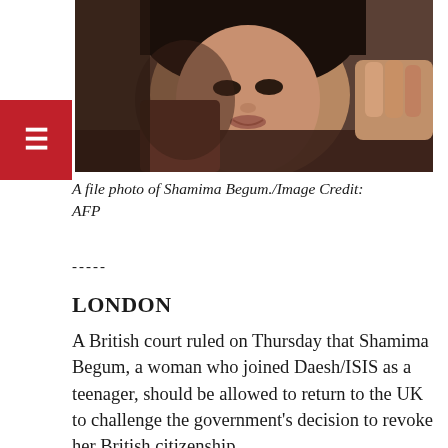[Figure (photo): A file photo of Shamima Begum, a young woman looking at the camera, with another person partially visible beside her. Red hamburger menu icon overlay on the left side.]
A file photo of Shamima Begum./Image Credit: AFP
-----
LONDON
A British court ruled on Thursday that Shamima Begum, a woman who joined Daesh/ISIS as a teenager, should be allowed to return to the UK to challenge the government's decision to revoke her British citizenship.